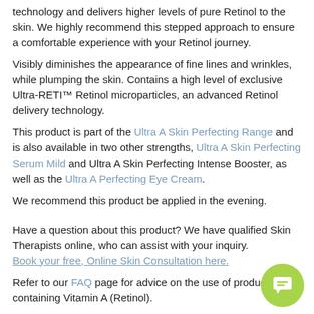technology and delivers higher levels of pure Retinol to the skin. We highly recommend this stepped approach to ensure a comfortable experience with your Retinol journey.
Visibly diminishes the appearance of fine lines and wrinkles, while plumping the skin. Contains a high level of exclusive Ultra-RETI™ Retinol microparticles, an advanced Retinol delivery technology.
This product is part of the Ultra A Skin Perfecting Range and is also available in two other strengths, Ultra A Skin Perfecting Serum Mild and Ultra A Skin Perfecting Intense Booster, as well as the Ultra A Perfecting Eye Cream.
We recommend this product be applied in the evening.
Have a question about this product? We have qualified Skin Therapists online, who can assist with your inquiry. Book your free, Online Skin Consultation here.
Refer to our FAQ page for advice on the use of products containing Vitamin A (Retinol).
$145.00   30 mL